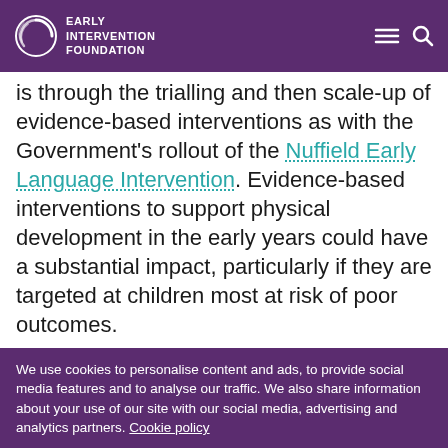Early Intervention Foundation
is through the trialling and then scale-up of evidence-based interventions as with the Government’s rollout of the Nuffield Early Language Intervention. Evidence-based interventions to support physical development in the early years could have a substantial impact, particularly if they are targeted at children most at risk of poor outcomes.
We use cookies to personalise content and ads, to provide social media features and to analyse our traffic. We also share information about your use of our site with our social media, advertising and analytics partners. Cookie policy